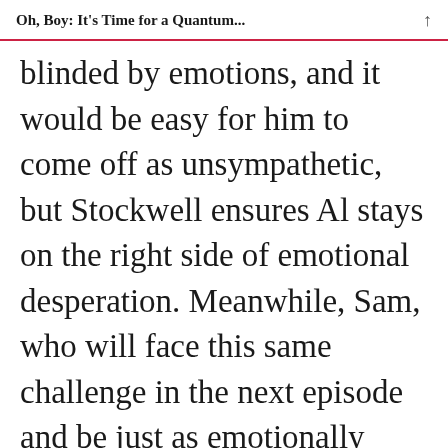Oh, Boy: It’s Time for a Quantum...
blinded by emotions, and it would be easy for him to come off as unsympathetic, but Stockwell ensures Al stays on the right side of emotional desperation. Meanwhile, Sam, who will face this same challenge in the next episode and be just as emotionally blinded, tries to take the rational, scientifically minded view that they cannot change their own fates– a view that could